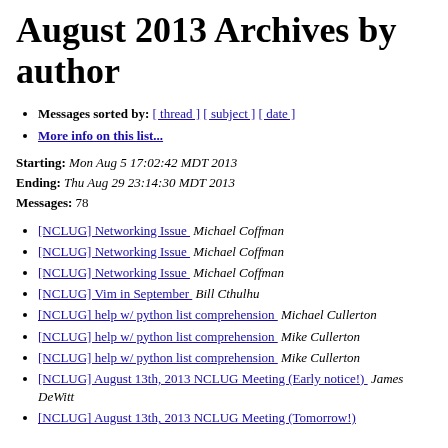August 2013 Archives by author
Messages sorted by: [ thread ] [ subject ] [ date ]
More info on this list...
Starting: Mon Aug 5 17:02:42 MDT 2013
Ending: Thu Aug 29 23:14:30 MDT 2013
Messages: 78
[NCLUG] Networking Issue   Michael Coffman
[NCLUG] Networking Issue   Michael Coffman
[NCLUG] Networking Issue   Michael Coffman
[NCLUG] Vim in September   Bill Cthulhu
[NCLUG] help w/ python list comprehension   Michael Cullerton
[NCLUG] help w/ python list comprehension   Mike Cullerton
[NCLUG] help w/ python list comprehension   Mike Cullerton
[NCLUG] August 13th, 2013 NCLUG Meeting (Early notice!)   James DeWitt
[NCLUG] August 13th, 2013 NCLUG Meeting (Tomorrow!)